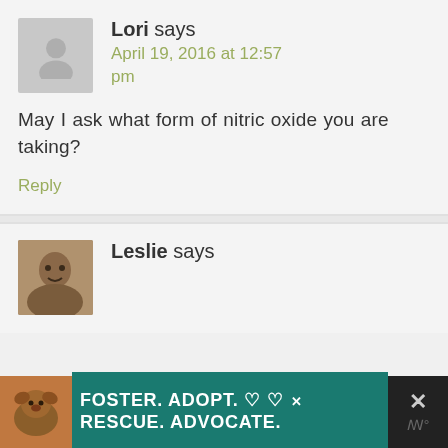Lori says
April 19, 2016 at 12:57 pm
May I ask what form of nitric oxide you are taking?
Reply
Leslie says
[Figure (infographic): Advertisement banner: dog image on left, teal background with white bold text reading FOSTER. ADOPT. RESCUE. ADVOCATE. with heart icons, and a close button on the right]